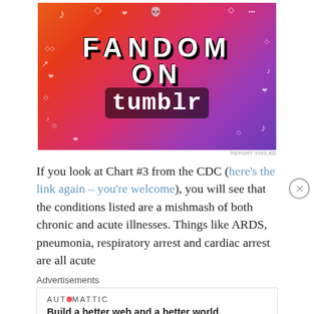[Figure (illustration): Fandom on Tumblr colorful advertisement banner with gradient orange-pink-purple background and doodle decorations]
REPORT THIS AD
If you look at Chart #3 from the CDC (here's the link again – you're welcome), you will see that the conditions listed are a mishmash of both chronic and acute illnesses. Things like ARDS, pneumonia, respiratory arrest and cardiac arrest are all acute
Advertisements
AUTOMATTIC
Build a better web and a better world.